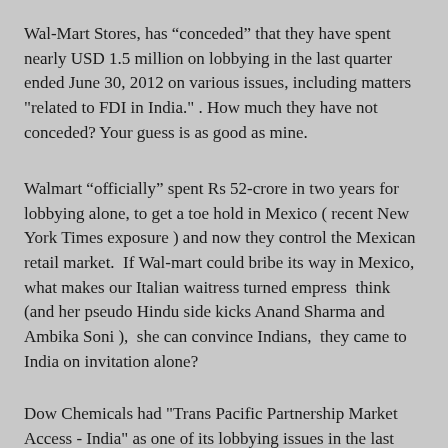Wal-Mart Stores, has “conceded” that they have spent nearly USD 1.5 million on lobbying in the last quarter ended June 30, 2012 on various issues, including matters "related to FDI in India." . How much they have not conceded? Your guess is as good as mine.
Walmart “officially” spent Rs 52-crore in two years for lobbying alone, to get a toe hold in Mexico ( recent New York Times exposure ) and now they control the Mexican retail market.  If Wal-mart could bribe its way in Mexico, what makes our Italian waitress turned empress  think (and her pseudo Hindu side kicks Anand Sharma and Ambika Soni ),  she can convince Indians,  they came to India on invitation alone?
Dow Chemicals had "Trans Pacific Partnership Market Access - India" as one of its lobbying issues in the last quarter, when it spent more than USD 3.6 million on various lobby issues.